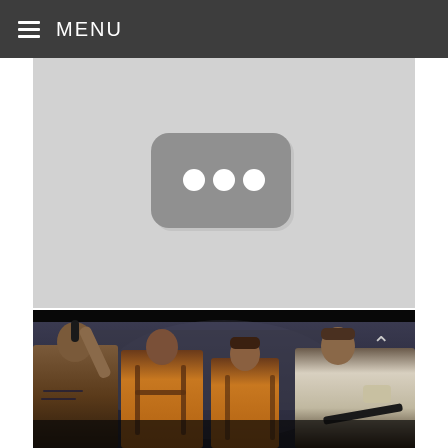MENU
[Figure (other): Gray video placeholder thumbnail with a rounded rectangle icon containing three white dots, resembling a YouTube play button placeholder or loading state]
[Figure (photo): Movie scene showing four male figures in what appears to be a prison or industrial setting. The leftmost figure is shirtless with a mohawk hairstyle holding a weapon. Two middle figures wear orange jumpsuits. The rightmost figure wears a white tank top. The scene has a dark, gritty cinematic look. A chevron/caret up arrow is visible in the upper right corner.]